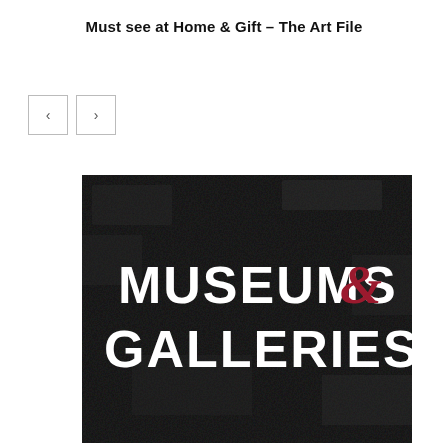Must see at Home & Gift – The Art File
[Figure (logo): Museums & Galleries brand logo on dark textured background. White sans-serif text reads 'MUSEUMS &' on first line and 'GALLERIES' on second line, with a decorative red ampersand symbol between the words.]